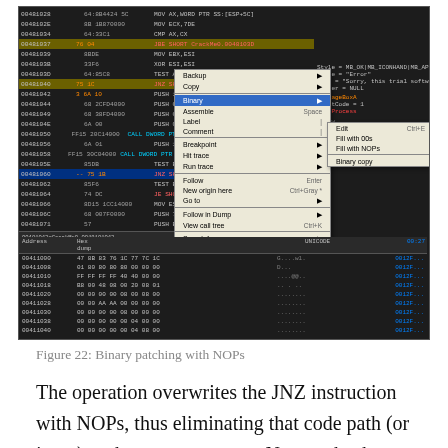[Figure (screenshot): Screenshot of a debugger (OllyDbg) showing disassembly of CrackMe program with a right-click context menu open showing 'Binary' submenu with options including 'Fill with NOPs'. The lower panel shows a hex dump view.]
Figure 22: Binary patching with NOPs
The operation overwrites the JNZ instruction with NOPs, thus eliminating that code path (or jump) to the error message.  Next go back to the PUSH 10 instruction of the MessageBoxA by pressing the minus sign key (-) and